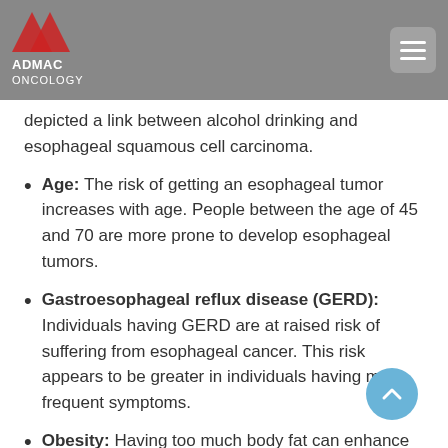ADMAC ONCOLOGY
depicted a link between alcohol drinking and esophageal squamous cell carcinoma.
Age: The risk of getting an esophageal tumor increases with age. People between the age of 45 and 70 are more prone to develop esophageal tumors.
Gastroesophageal reflux disease (GERD): Individuals having GERD are at raised risk of suffering from esophageal cancer. This risk appears to be greater in individuals having more frequent symptoms.
Obesity: Having too much body fat can enhance the odds of getting esophageal adenocarcinoma since